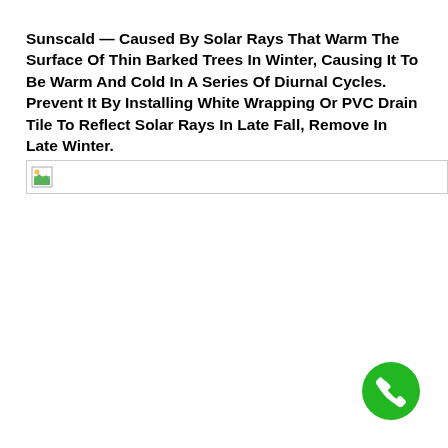Sunscald — Caused By Solar Rays That Warm The Surface Of Thin Barked Trees In Winter, Causing It To Be Warm And Cold In A Series Of Diurnal Cycles. Prevent It By Installing White Wrapping Or PVC Drain Tile To Reflect Solar Rays In Late Fall, Remove In Late Winter.
[Figure (photo): Broken/unloaded image placeholder with small landscape icon in top-left corner]
[Figure (other): Green circular phone/call button icon in bottom-right corner]